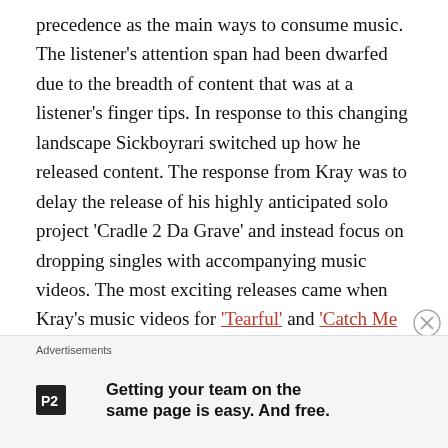precedence as the main ways to consume music. The listener's attention span had been dwarfed due to the breadth of content that was at a listener's finger tips. In response to this changing landscape Sickboyrari switched up how he released content. The response from Kray was to delay the release of his highly anticipated solo project 'Cradle 2 Da Grave' and instead focus on dropping singles with accompanying music videos. The most exciting releases came when Kray's music videos for 'Tearful' and 'Catch Me Outside' were released on WorldStarHipHop.
The release of 'Tearful' was landmark moment in the career of Black Kray and a history making moment in the underground. This was because 'Tearful' was premiered on WorldStar...
Advertisements
[Figure (logo): P2 logo - a small square icon with 'P2' text]
Getting your team on the same page is easy. And free.